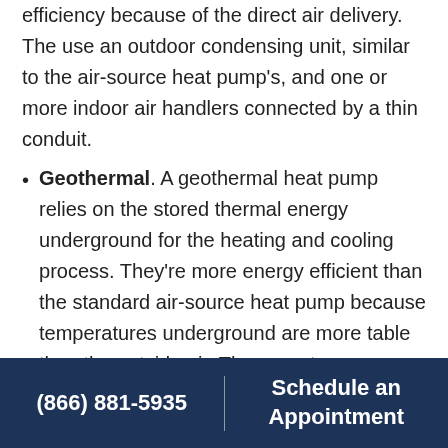efficiency because of the direct air delivery. The use an outdoor condensing unit, similar to the air-source heat pump's, and one or more indoor air handlers connected by a thin conduit.
Geothermal. A geothermal heat pump relies on the stored thermal energy underground for the heating and cooling process. They're more energy efficient than the standard air-source heat pump because temperatures underground are more table than the outside air. These systems use an underground (or underwater) loop field, with pipes containing a water/anti-freeze solution that extracts or releases the heat to condition your home. Of all the heat pump options, these are the most durable
(866) 881-5935 | Schedule an Appointment